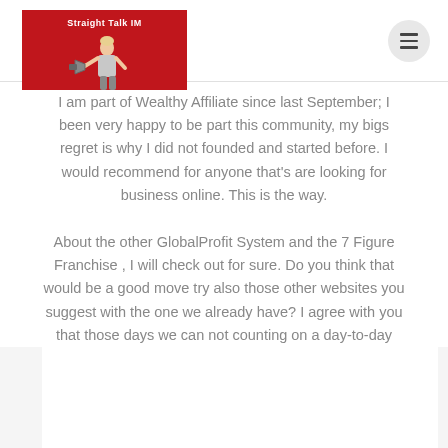[Figure (logo): Straight Talk IM logo — red background with a woman holding a megaphone]
I am part of Wealthy Affiliate since last September; I been very happy to be part this community, my bigs regret is why I did not founded and started before. I would recommend for anyone that's are looking for business online. This is the way.
About the other GlobalProfit System and the 7 Figure Franchise , I will check out for sure. Do you think that would be a good move try also those other websites you suggest with the one we already have? I agree with you that those days we can not counting on a day-to-day